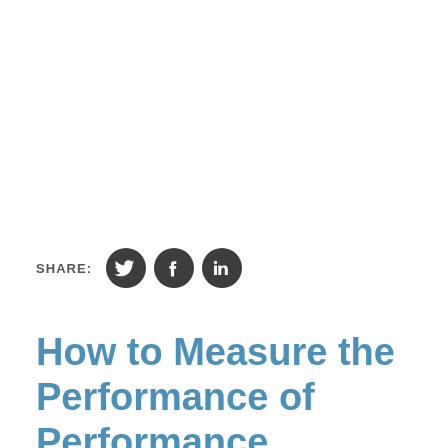[Figure (infographic): SHARE: label followed by three social media icons — Twitter (bird), Facebook (f), and LinkedIn (in) — dark charcoal circular buttons]
How to Measure the Performance of Performance Measurement